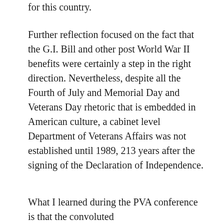for this country.
Further reflection focused on the fact that the G.I. Bill and other post World War II benefits were certainly a step in the right direction. Nevertheless, despite all the Fourth of July and Memorial Day and Veterans Day rhetoric that is embedded in American culture, a cabinet level Department of Veterans Affairs was not established until 1989, 213 years after the signing of the Declaration of Independence.
What I learned during the PVA conference is that the convoluted